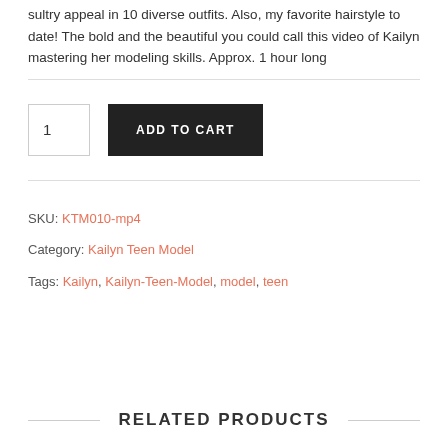sultry appeal in 10 diverse outfits. Also, my favorite hairstyle to date! The bold and the beautiful you could call this video of Kailyn mastering her modeling skills. Approx. 1 hour long
1  ADD TO CART
SKU: KTM010-mp4
Category: Kailyn Teen Model
Tags: Kailyn, Kailyn-Teen-Model, model, teen
RELATED PRODUCTS